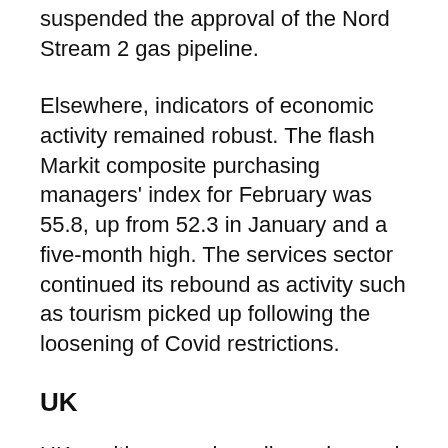suspended the approval of the Nord Stream 2 gas pipeline.
Elsewhere, indicators of economic activity remained robust. The flash Markit composite purchasing managers' index for February was 55.8, up from 52.3 in January and a five-month high. The services sector continued its rebound as activity such as tourism picked up following the loosening of Covid restrictions.
UK
UK equities were broadly unchanged over February. The picture was very similar to January, with shares of larger companies rising. This was driven this month by the mining, healthcare and oil sectors, while small and mid cap equities recorded losses. One change from January was a greater presence of more...